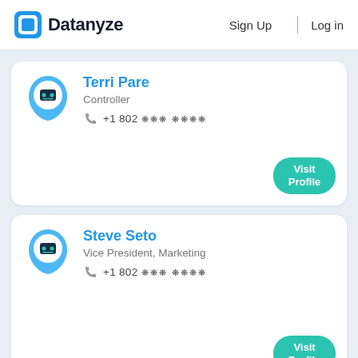Datanyze | Sign Up | Log in
Terri Pare
Controller
+1 802 *** ****
Visit Profile
Steve Seto
Vice President, Marketing
+1 802 *** ****
Visit Profile